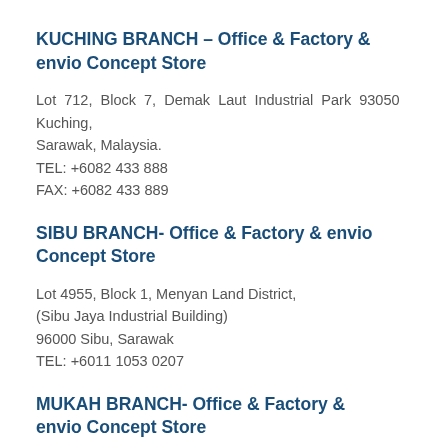KUCHING BRANCH – Office & Factory & envio Concept Store
Lot 712, Block 7, Demak Laut Industrial Park 93050 Kuching,
Sarawak, Malaysia.
TEL: +6082 433 888
FAX: +6082 433 889
SIBU BRANCH- Office & Factory & envio Concept Store
Lot 4955, Block 1, Menyan Land District,
(Sibu Jaya Industrial Building)
96000 Sibu, Sarawak
TEL: +6011 1053 0207
MUKAH BRANCH- Office & Factory & envio Concept Store